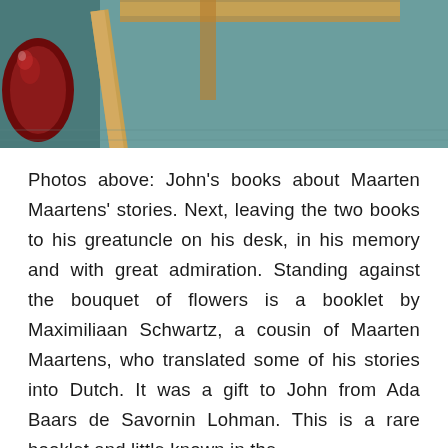[Figure (photo): Photo of items on a desk including a dark red/maroon round object on the left, wooden ruler/stick pieces, and a teal/green surface in the background.]
Photos above: John's books about Maarten Maartens' stories. Next, leaving the two books to his greatuncle on his desk, in his memory and with great admiration. Standing against the bouquet of flowers is a booklet by Maximiliaan Schwartz, a cousin of Maarten Maartens, who translated some of his stories into Dutch. It was a gift to John from Ada Baars de Savornin Lohman. This is a rare booklet and little known in the